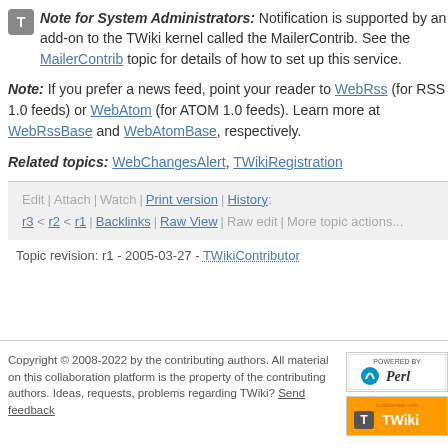Note for System Administrators: Notification is supported by an add-on to the TWiki kernel called the MailerContrib. See the MailerContrib topic for details of how to set up this service.
Note: If you prefer a news feed, point your reader to WebRss (for RSS 1.0 feeds) or WebAtom (for ATOM 1.0 feeds). Learn more at WebRssBase and WebAtomBase, respectively.
Related topics: WebChangesAlert, TWikiRegistration
Edit | Attach | Watch | Print version | History: r3 < r2 < r1 | Backlinks | Raw View | Raw edit | More topic actions...
Topic revision: r1 - 2005-03-27 - TWikiContributor
Copyright © 2008-2022 by the contributing authors. All material on this collaboration platform is the property of the contributing authors. Ideas, requests, problems regarding TWiki? Send feedback